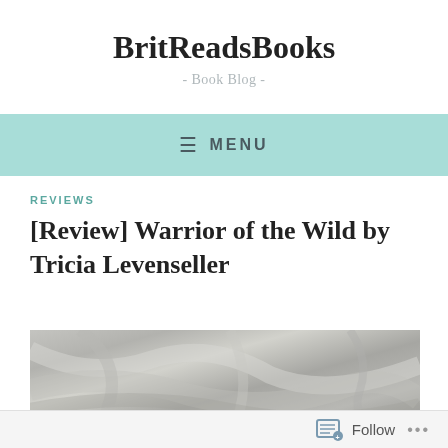BritReadsBooks
- Book Blog -
≡ MENU
REVIEWS
[Review] Warrior of the Wild by Tricia Levenseller
[Figure (photo): Close-up photograph of crumpled or draped grey/neutral fabric or clothing]
Follow